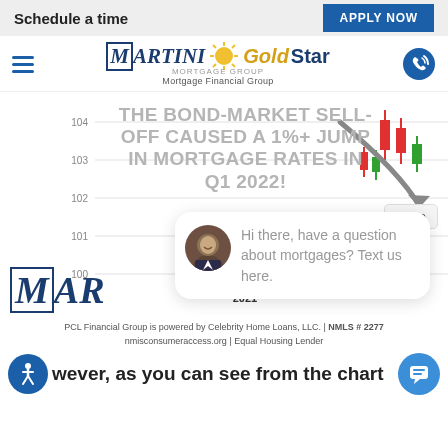Schedule a time | APPLY NOW
[Figure (logo): MARTINI Gold Star Mortgage Financial Group logo with hamburger menu and phone icon]
[Figure (screenshot): Website screenshot showing bond market chart overlay with text: THE BOND-MARKET SELL-OFF CAUSED A 1%+ JUMP IN MORTGAGE RATES IN Q1 2022! with close button and chat bubble saying Hi there, have a question about mortgages? Text us here.]
PCL Financial Group is powered by Celebrity Home Loans, LLC. | NMLS # 2277 nmisconsumeraccess.org | Equal Housing Lender
wever, as you can see from the chart